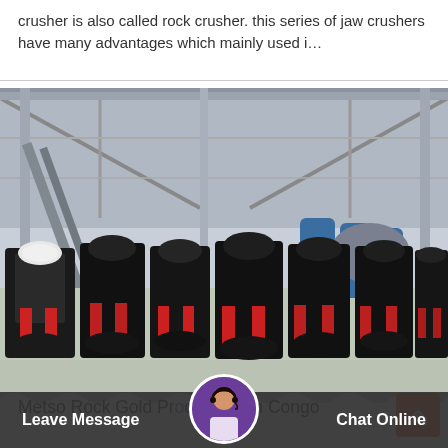crusher is also called rock crusher. this series of jaw crushers have many advantages which mainly used i…
[Figure (photo): Industrial warehouse interior showing a row of multiple cone/jaw crusher machines, black and red colored, lined up on a factory floor. Large industrial space with steel roof trusses visible. Blue cylindrical equipment in background.]
Metso Rock Gold Processing In Congo
Gravel And Sand
Leave Message  Chat Online